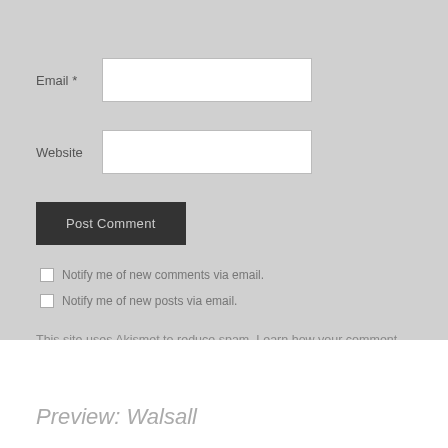Email *
Website
Post Comment
Notify me of new comments via email.
Notify me of new posts via email.
This site uses Akismet to reduce spam. Learn how your comment data is processed.
Preview: Walsall